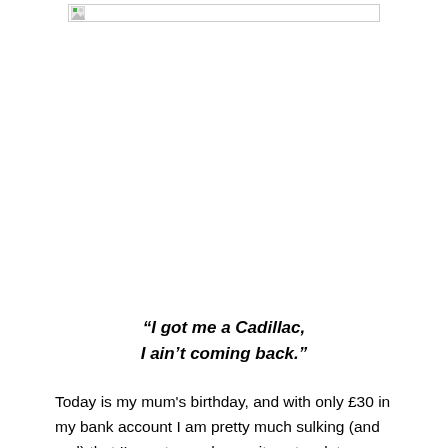[Figure (photo): Broken or placeholder image icon in a thin bordered box, shown at the top of the page]
“I got me a Cadillac,
I ain’t coming back.”
Today is my mum's birthday, and with only £30 in my bank account I am pretty much sulking (and sad) that I've not seen her as it costs a lot more to fly home to see her. I'm probably turning into some